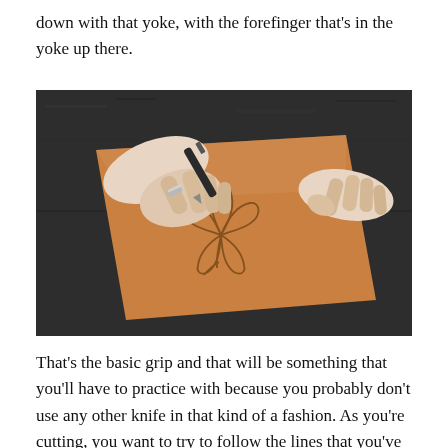down with that yoke, with the forefinger that's in the yoke up there.
[Figure (photo): Hands holding a leather carving tool, pressing into a tan leather piece on a dark granite surface. The leather has a floral design (lily) being carved into it. The person is wearing a decorative silver ring on their left hand.]
That's the basic grip and that will be something that you'll have to practice with because you probably don't use any other knife in that kind of a fashion. As you're cutting, you want to try to follow the lines that you've sketched on